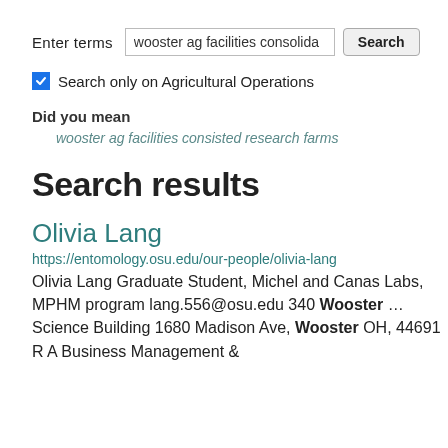Enter terms  wooster ag facilities consolida  Search
Search only on Agricultural Operations
Did you mean
wooster ag facilities consisted research farms
Search results
Olivia Lang
https://entomology.osu.edu/our-people/olivia-lang
Olivia Lang Graduate Student, Michel and Canas Labs, MPHM program lang.556@osu.edu 340 Wooster ... Science Building 1680 Madison Ave, Wooster OH, 44691 R A Business Management &